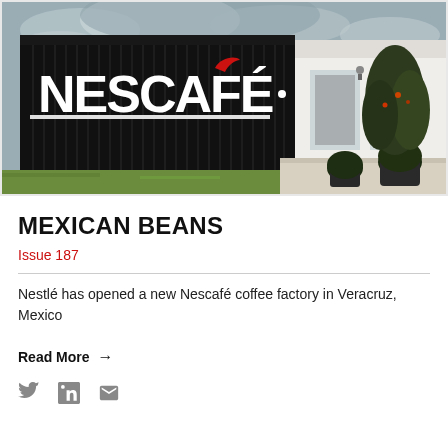[Figure (photo): Exterior of a Nescafé coffee factory building featuring dark corrugated metal cladding with large white NESCAFÉ logo and red accent mark, with a modern white wing section and green trees/planters in front, under a cloudy sky.]
MEXICAN BEANS
Issue 187
Nestlé has opened a new Nescafé coffee factory in Veracruz, Mexico
Read More →
[Figure (other): Social media icons: Twitter bird, LinkedIn 'in', and envelope/email icon]